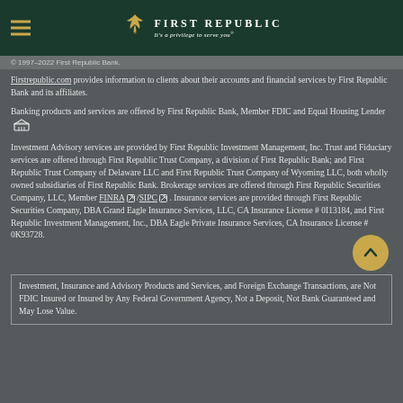First Republic — It's a privilege to serve you®
© 1997–2022 First Republic Bank.
Firstrepublic.com provides information to clients about their accounts and financial services by First Republic Bank and its affiliates.
Banking products and services are offered by First Republic Bank, Member FDIC and Equal Housing Lender [icon]
Investment Advisory services are provided by First Republic Investment Management, Inc. Trust and Fiduciary services are offered through First Republic Trust Company, a division of First Republic Bank; and First Republic Trust Company of Delaware LLC and First Republic Trust Company of Wyoming LLC, both wholly owned subsidiaries of First Republic Bank. Brokerage services are offered through First Republic Securities Company, LLC, Member FINRA /SIPC . Insurance services are provided through First Republic Securities Company, DBA Grand Eagle Insurance Services, LLC, CA Insurance License # 0I13184, and First Republic Investment Management, Inc., DBA Eagle Private Insurance Services, CA Insurance License # 0K93728.
Investment, Insurance and Advisory Products and Services, and Foreign Exchange Transactions, are Not FDIC Insured or Insured by Any Federal Government Agency, Not a Deposit, Not Bank Guaranteed and May Lose Value.